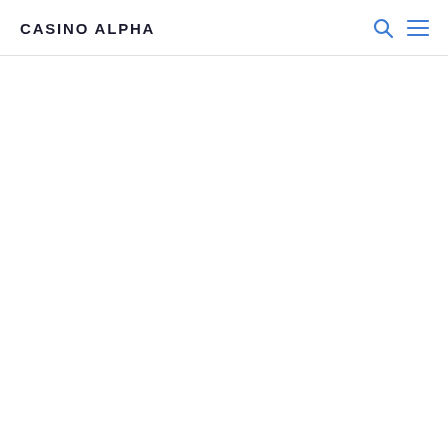CASINO ALPHA
[Figure (other): Search icon (magnifying glass) and hamburger menu icon in blue, positioned in the top-right of the navigation header]